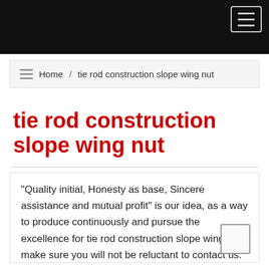[Figure (screenshot): Black navigation header bar with hamburger menu icon (three horizontal lines) in a rounded rectangle, top right corner]
Home / tie rod construction slope wing nut
tie rod construction slope wing nut
"Quality initial, Honesty as base, Sincere assistance and mutual profit" is our idea, as a way to produce continuously and pursue the excellence for tie rod construction slope wing nut make sure you will not be reluctant to contact us.